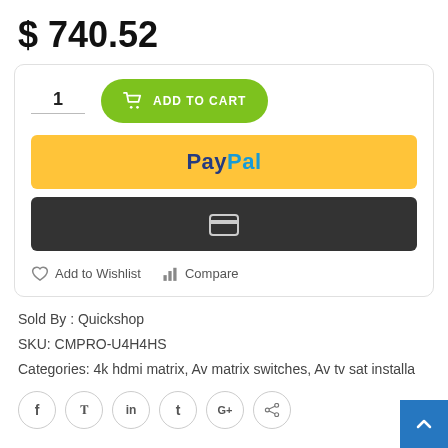$ 740.52
[Figure (screenshot): E-commerce product purchase widget with quantity field showing '1', green 'ADD TO CART' button, yellow PayPal button, dark card/credit button, Add to Wishlist and Compare links, metadata for Sold By: Quickshop, SKU: CMPRO-U4H4HS, Categories: 4k hdmi matrix, Av matrix switches, Av tv sat installa..., social sharing icons (Facebook, Twitter, LinkedIn, Tumblr, Google+, Pinterest), and a blue back-to-top button.]
Sold By : Quickshop
SKU: CMPRO-U4H4HS
Categories: 4k hdmi matrix, Av matrix switches, Av tv sat installa...